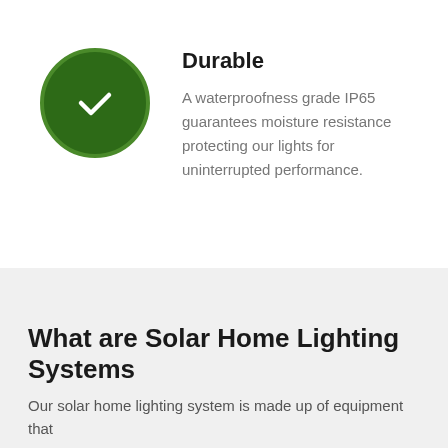[Figure (illustration): Dark green circle with a white checkmark inside, representing a durable/verified feature icon]
Durable
A waterproofness grade IP65 guarantees moisture resistance protecting our lights for uninterrupted performance.
What are Solar Home Lighting Systems
Our solar home lighting system is made up of equipment that